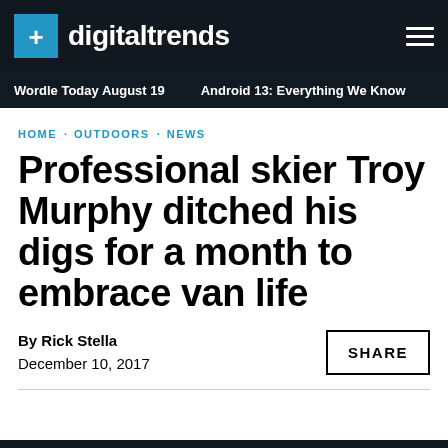digitaltrends
Wordle Today August 19 · Android 13: Everything We Know
HOME · OUTDOORS · NEWS
Professional skier Troy Murphy ditched his digs for a month to embrace van life
By Rick Stella
December 10, 2017